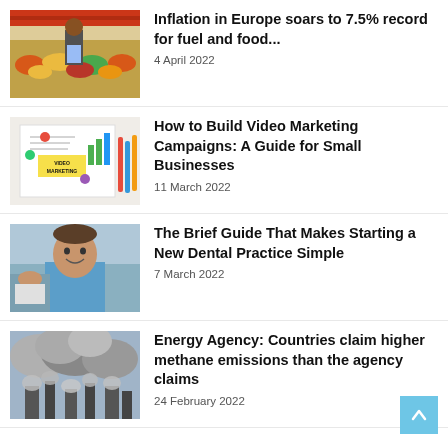[Figure (photo): Woman shopping at a fruit and vegetable market]
Inflation in Europe soars to 7.5% record for fuel and food...
4 April 2022
[Figure (photo): Video marketing whiteboard diagram with charts]
How to Build Video Marketing Campaigns: A Guide for Small Businesses
11 March 2022
[Figure (photo): Smiling dentist in scrubs with dental procedure in background]
The Brief Guide That Makes Starting a New Dental Practice Simple
7 March 2022
[Figure (photo): Industrial smokestacks emitting methane/smoke clouds]
Energy Agency: Countries claim higher methane emissions than the agency claims
24 February 2022